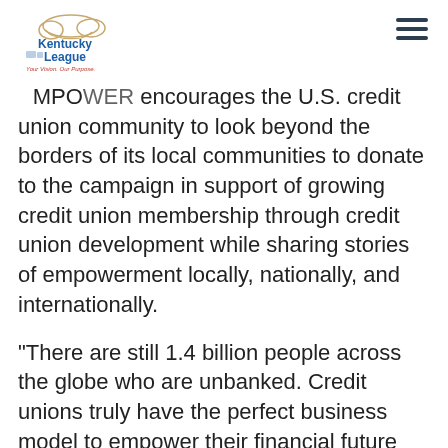Kentucky League — Your Vision. Our Purpose.
EMPOWER encourages the U.S. credit union community to look beyond the borders of its local communities to donate to the campaign in support of growing credit union membership through credit union development while sharing stories of empowerment locally, nationally, and internationally.
“There are still 1.4 billion people across the globe who are unbanked. Credit unions truly have the perfect business model to empower their financial future and that is a message we hope our entire global movement will celebrate and promote on